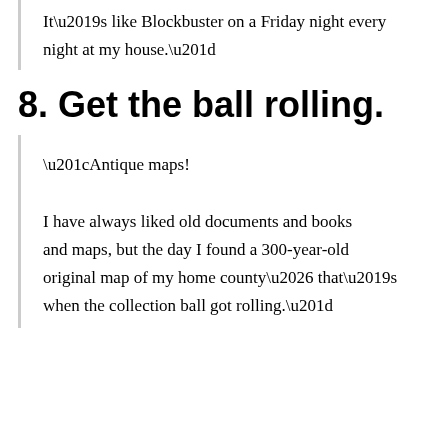It’s like Blockbuster on a Friday night every night at my house.”
8. Get the ball rolling.
“Antique maps!

I have always liked old documents and books and maps, but the day I found a 300-year-old original map of my home county… that’s when the collection ball got rolling.”